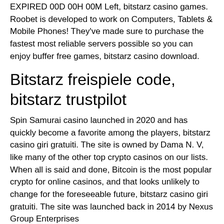EXPIRED 00D 00H 00M Left, bitstarz casino games. Roobet is developed to work on Computers, Tablets & Mobile Phones! They've made sure to purchase the fastest most reliable servers possible so you can enjoy buffer free games, bitstarz casino download.
Bitstarz freispiele code, bitstarz trustpilot
Spin Samurai casino launched in 2020 and has quickly become a favorite among the players, bitstarz casino giri gratuiti. The site is owned by Dama N. V, like many of the other top crypto casinos on our lists. When all is said and done, Bitcoin is the most popular crypto for online casinos, and that looks unlikely to change for the foreseeable future, bitstarz casino giri gratuiti. The site was launched back in 2014 by Nexus Group Enterprises